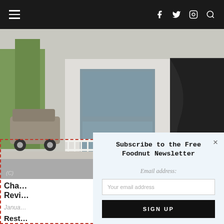≡  f  🐦  📷  🔍
[Figure (photo): Exterior of a restaurant with white metal railing fence, large glass windows, outdoor trees, and a parked SUV on the street]
Cha… Revi…
Janua…
Rest… Revi…
By using our… of Use.
Subscribe to the Free Foodnut Newsletter
Email address:
Your email address
SIGN UP